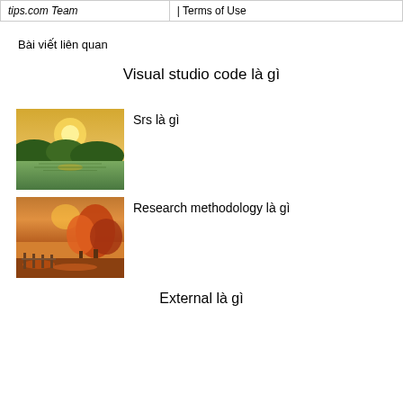| tips.com Team | | Terms of Use |
| --- | --- |
Bài viết liên quan
Visual studio code là gì
[Figure (photo): Landscape photo with lake and trees reflecting golden light]
Srs là gì
[Figure (photo): Autumn park scene with orange and red foliage and warm light]
Research methodology là gì
External là gì